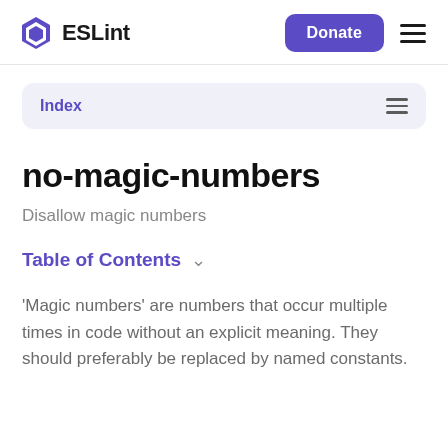ESLint | Donate
Index
no-magic-numbers
Disallow magic numbers
Table of Contents
'Magic numbers' are numbers that occur multiple times in code without an explicit meaning. They should preferably be replaced by named constants.